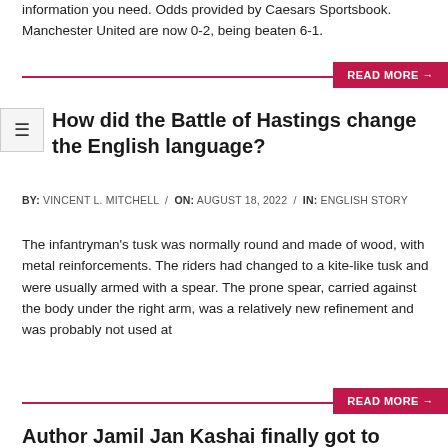information you need. Odds provided by Caesars Sportsbook. Manchester United are now 0-2, being beaten 6-1.
READ MORE →
How did the Battle of Hastings change the English language?
BY: VINCENT L. MITCHELL / ON: AUGUST 18, 2022 / IN: ENGLISH STORY
The infantryman's tusk was normally round and made of wood, with metal reinforcements. The riders had changed to a kite-like tusk and were usually armed with a spear. The prone spear, carried against the body under the right arm, was a relatively new refinement and was probably not used at
READ MORE →
Author Jamil Jan Kashai finally got to thank his